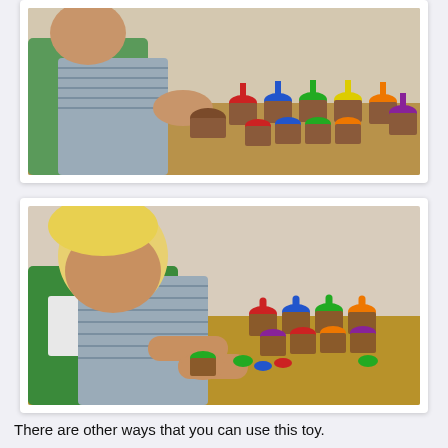[Figure (photo): Child with dark hair wearing green bib and grey striped shirt, playing with colorful stacking cups/acorns toy on a wooden table. Multiple colored tops (red, blue, green, yellow, orange, purple) arranged in rows.]
[Figure (photo): Blonde toddler wearing green bib and grey striped shirt, leaning over a wooden table arranging colorful stacking cup toys. Multiple colored tops (red, blue, green, orange, purple) spread across the table.]
There are other ways that you can use this toy.